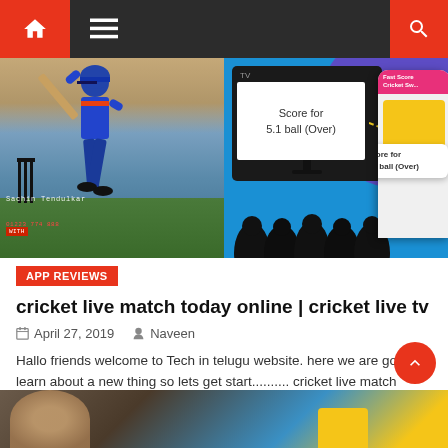Navigation bar with home, menu, and search icons
[Figure (photo): Hero image split in two: left side shows cricket player (Sachin Tendulkar) batting with crowd in background and stumps; right side shows TV screen displaying 'Score for 5.1 ball (Over)' and a phone mockup showing 'Score for 5.2 ball (Over)' on an app, on a blue background with audience silhouettes]
APP REVIEWS
cricket live match today online | cricket live tv
April 27, 2019   Naveen
Hallo friends welcome to Tech in telugu website. here we are going to learn about a new thing so lets get start.......... cricket live match today online | cricket live tv          [Telugu text][...]
[Figure (photo): Partial bottom image strip showing a person and colorful background with yellow element]